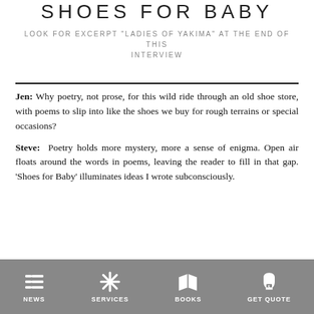SHOES FOR BABY
LOOK FOR EXCERPT “LADIES OF YAKIMA” AT THE END OF THIS INTERVIEW
Jen: Why poetry, not prose, for this wild ride through an old shoe store, with poems to slip into like the shoes we buy for rough terrains or special occasions?
Steve: Poetry holds more mystery, more a sense of enigma. Open air floats around the words in poems, leaving the reader to fill in that gap. ‘Shoes for Baby’ illuminates ideas I wrote subconsciously.
NEWS  SERVICES  BOOKS  GET QUOTE